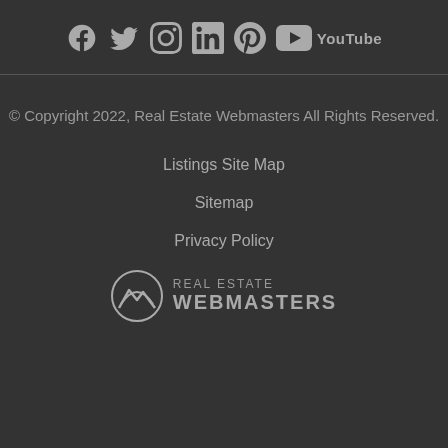[Figure (other): Social media icons row: Facebook, Twitter, Instagram, LinkedIn, Pinterest, YouTube]
© Copyright 2022, Real Estate Webmasters All Rights Reserved.
Listings Site Map
Sitemap
Privacy Policy
[Figure (logo): Real Estate Webmasters logo with mountain icon and text REAL ESTATE WEBMASTERS]